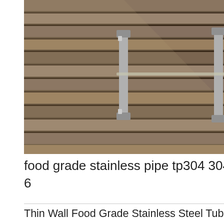[Figure (photo): Stacked stainless steel plates/pipes with metal clamps, overlaid with a 24/7 online support widget featuring a female customer service representative with headset, 'PROVIDE SUPPORT® Empowering Customer Service' branding, and an 'online live' button. A Chinese text sidebar reads '在线咨询' (Online Consultation).]
food grade stainless pipe tp304 304l 316 6
Thin Wall Food Grade Stainless Steel Tubing JIS ,AISI ,ASTM ,GB ,DIN ,ASTM.ASTM A312 TP 304 Stainless Steel Pipe/ Tube suppliers food grade stainless pipe tp304 304l 316 316l 201 202 416ASTM A312 TP304 stainless steel welded pipe 304 304L 316 316L 316H 321 309 310S F